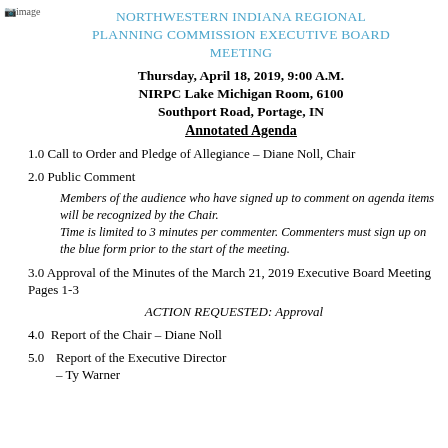[Figure (logo): Organization logo image in top left corner]
NORTHWESTERN INDIANA REGIONAL PLANNING COMMISSION EXECUTIVE BOARD MEETING
Thursday, April 18, 2019, 9:00 A.M.
NIRPC Lake Michigan Room, 6100 Southport Road, Portage, IN
Annotated Agenda
1.0 Call to Order and Pledge of Allegiance – Diane Noll, Chair
2.0 Public Comment
Members of the audience who have signed up to comment on agenda items will be recognized by the Chair.
Time is limited to 3 minutes per commenter. Commenters must sign up on the blue form prior to the start of the meeting.
3.0 Approval of the Minutes of the March 21, 2019 Executive Board Meeting Pages 1-3
ACTION REQUESTED: Approval
4.0  Report of the Chair – Diane Noll
5.0  Report of the Executive Director – Ty Warner